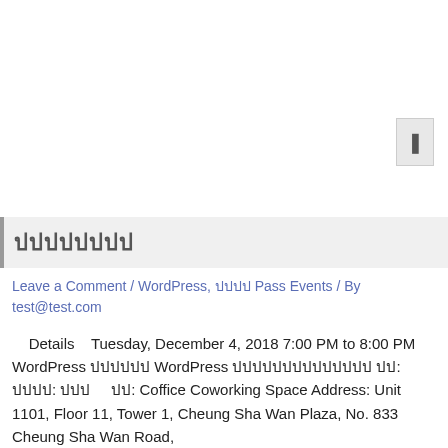[Figure (other): Scroll or navigation button UI element in upper right area]
ปปปปปปปป
Leave a Comment / WordPress, ปปปป Pass Events / By test@test.com
Details   Tuesday, December 4, 2018 7:00 PM to 8:00 PM WordPress ปปปปปป WordPress ปปปปปปปปปปปปปป ปป: ปปปป: ปปป    ปป: Coffice Coworking Space Address: Unit 1101, Floor 11, Tower 1, Cheung Sha Wan Plaza, No. 833 Cheung Sha Wan Road,